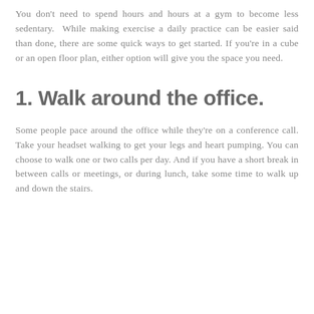You don't need to spend hours and hours at a gym to become less sedentary.  While making exercise a daily practice can be easier said than done, there are some quick ways to get started. If you're in a cube or an open floor plan, either option will give you the space you need.
1. Walk around the office.
Some people pace around the office while they're on a conference call. Take your headset walking to get your legs and heart pumping. You can choose to walk one or two calls per day. And if you have a short break in between calls or meetings, or during lunch, take some time to walk up and down the stairs.